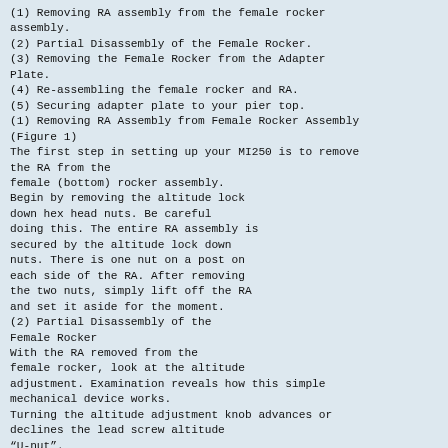(1) Removing RA assembly from the female rocker assembly.
(2) Partial Disassembly of the Female Rocker.
(3) Removing the Female Rocker from the Adapter Plate.
(4) Re-assembling the female rocker and RA.
(5) Securing adapter plate to your pier top.
(1) Removing RA Assembly from Female Rocker Assembly (Figure 1)
The first step in setting up your MI250 is to remove the RA from the female (bottom) rocker assembly.
Begin by removing the altitude lock down hex head nuts. Be careful doing this. The entire RA assembly is secured by the altitude lock down nuts. There is one nut on a post on each side of the RA. After removing the two nuts, simply lift off the RA and set it aside for the moment.
(2) Partial Disassembly of the Female Rocker
With the RA removed from the female rocker, look at the altitude adjustment. Examination reveals how this simple mechanical device works.
Turning the altitude adjustment knob advances or declines the lead screw altitude “U-nut”.
The center pivot shoulder screw (under the U-nut) needs to be removed in order to remove the black adapter plate. It needs to be re inserted into the center hole of the